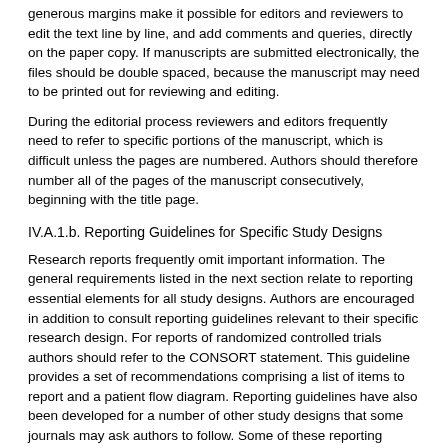generous margins make it possible for editors and reviewers to edit the text line by line, and add comments and queries, directly on the paper copy. If manuscripts are submitted electronically, the files should be double spaced, because the manuscript may need to be printed out for reviewing and editing.
During the editorial process reviewers and editors frequently need to refer to specific portions of the manuscript, which is difficult unless the pages are numbered. Authors should therefore number all of the pages of the manuscript consecutively, beginning with the title page.
IV.A.1.b. Reporting Guidelines for Specific Study Designs
Research reports frequently omit important information. The general requirements listed in the next section relate to reporting essential elements for all study designs. Authors are encouraged in addition to consult reporting guidelines relevant to their specific research design. For reports of randomized controlled trials authors should refer to the CONSORT statement. This guideline provides a set of recommendations comprising a list of items to report and a patient flow diagram. Reporting guidelines have also been developed for a number of other study designs that some journals may ask authors to follow. Some of these reporting guidelines can also be found at www.consort-statement.org. Authors should consult the information for authors of the journal they have chosen.
IV.A.2. Title Page
The title page should carry the following information:
1. The title of the article. Concise titles are easier to read than long, convoluted ones. Titles that are too short may, however, lack important information, such as